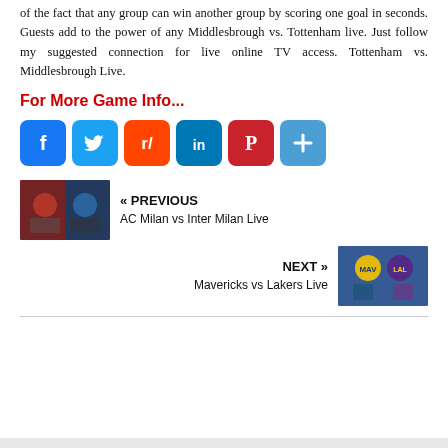of the fact that any group can win another group by scoring one goal in seconds. Guests add to the power of any Middlesbrough vs. Tottenham live. Just follow my suggested connection for live online TV access. Tottenham vs. Middlesbrough Live.
For More Game Info...
[Figure (other): Row of social media share icons: Facebook, Twitter, Reddit, LinkedIn, Pinterest, and a plus/share button]
[Figure (photo): Navigation link image for previous article: AC Milan vs Inter Milan, showing two football players]
« PREVIOUS
AC Milan vs Inter Milan Live
[Figure (photo): Navigation link image for next article: Mavericks vs Lakers Live, showing basketball players]
NEXT »
Mavericks vs Lakers Live